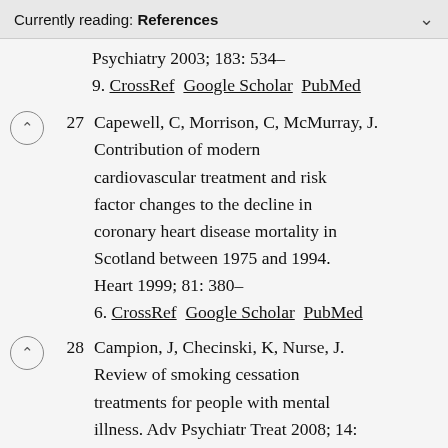Currently reading: References
Psychiatry 2003; 183: 534–9. CrossRef  Google Scholar  PubMed
27 Capewell, C, Morrison, C, McMurray, J. Contribution of modern cardiovascular treatment and risk factor changes to the decline in coronary heart disease mortality in Scotland between 1975 and 1994. Heart 1999; 81: 380–6. CrossRef  Google Scholar  PubMed
28 Campion, J, Checinski, K, Nurse, J. Review of smoking cessation treatments for people with mental illness. Adv Psychiatr Treat 2008; 14: